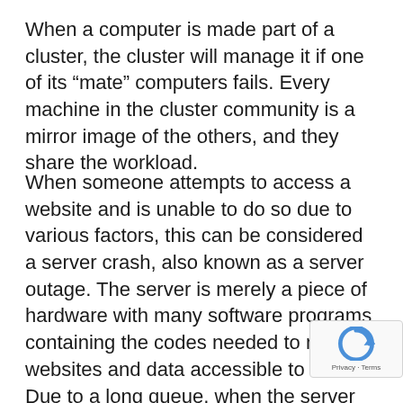When a computer is made part of a cluster, the cluster will manage it if one of its “mate” computers fails. Every machine in the cluster community is a mirror image of the others, and they share the workload.
When someone attempts to access a website and is unable to do so due to various factors, this can be considered a server crash, also known as a server outage. The server is merely a piece of hardware with many software programs containing the codes needed to make websites and data accessible to users. Due to a long queue, when the server goes down, users are unable to access it. The website has been removed from the intern Consider how many people are attempting enter the narrow doorway, obstructing those